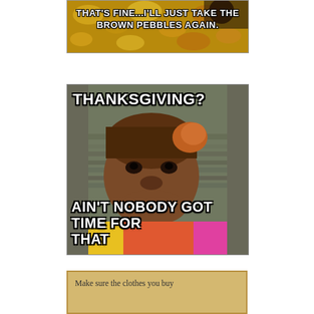[Figure (photo): Meme image with autumn leaves background and text 'THAT'S FINE...I'LL JUST TAKE THE BROWN PEBBLES AGAIN.' in white Impact font with black outline]
[Figure (photo): Meme image of a woman with a distressed expression (Sweet Brown / Kimberly Wilkins meme) with text 'THANKSGIVING?' at top and 'AIN'T NOBODY GOT TIME FOR THAT' at bottom in white Impact font with black outline]
[Figure (photo): Bottom of page showing a tan/gold colored text box beginning with 'Make sure the clothes you buy']